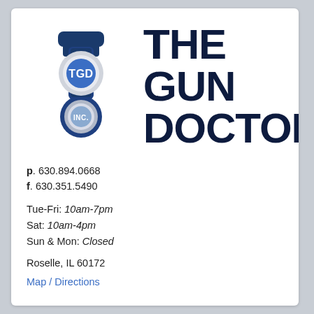[Figure (logo): The Gun Doctor Inc. logo: a stylized gun/padlock shape in dark blue with two circular emblems — top circle in blue with white text 'TGD', bottom circle with text 'INC.' — alongside bold dark navy text reading 'THE GUN DOCTOR']
p. 630.894.0668
f. 630.351.5490
Tue-Fri: 10am-7pm
Sat: 10am-4pm
Sun & Mon: Closed
Roselle, IL 60172
Map / Directions